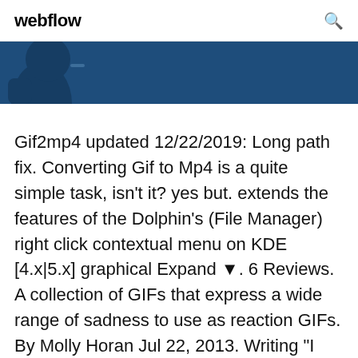webflow
[Figure (illustration): Dark blue banner with a partially visible cartoon character silhouette on the left side]
Gif2mp4 updated 12/22/2019: Long path fix. Converting Gif to Mp4 is a quite simple task, isn't it? yes but. extends the features of the Dolphin's (File Manager) right click contextual menu on KDE [4.x|5.x] graphical Expand ▼. 6 Reviews. A collection of GIFs that express a wide range of sadness to use as reaction GIFs. By Molly Horan Jul 22, 2013. Writing "I am sad" doesn't really